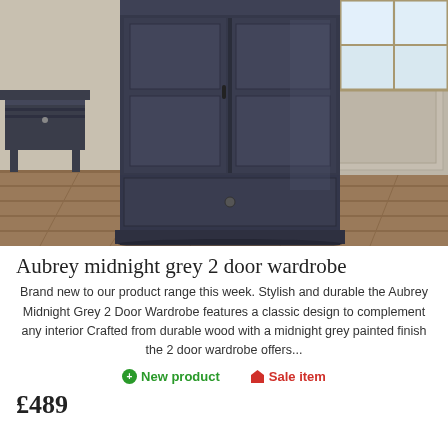[Figure (photo): A dark midnight grey 2-door wardrobe with panel doors and a bottom drawer, styled in a room with hardwood floors, beige walls with wainscoting, and a matching grey side table to the left. Natural light comes from a window on the right.]
Aubrey midnight grey 2 door wardrobe
Brand new to our product range this week. Stylish and durable the Aubrey Midnight Grey 2 Door Wardrobe features a classic design to complement any interior Crafted from durable wood with a midnight grey painted finish the 2 door wardrobe offers...
New product   Sale item
£489